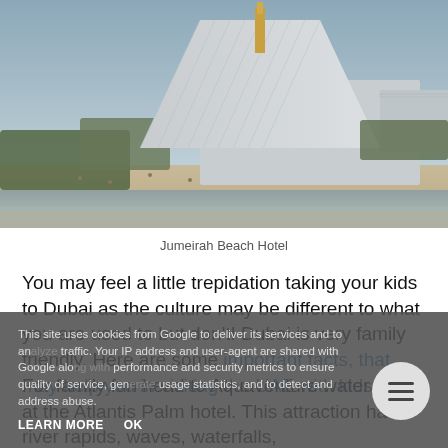[Figure (photo): Jumeirah Beach Hotel exterior — large wave-shaped hotel building with beach and water in foreground, twilight/dusk sky]
Jumeirah Beach Hotel
You may feel a little trepidation taking your kids to Dubai as the culture may be different to what you are used to but don't! Dubai is very family friendly. Here are some important facts, that may help you in visiting the UAE with kids.
For family fun head to Aquaventure water park at the Atlantis Palm hotel. This attraction has river rapids, waves, waterfalls, and slides. If you love animals it also has an aquarium, dolphin experiences, a snorkel tour, and take it easy there is also a lovely beach area. A great place to spend a day.